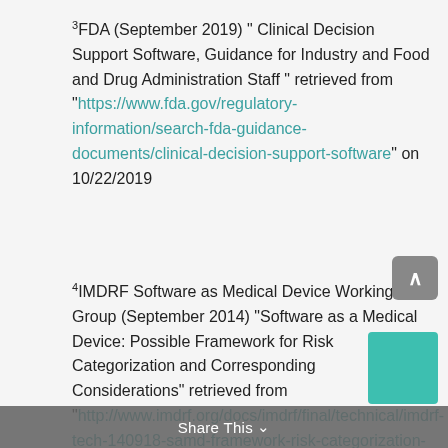3FDA (September 2019) " Clinical Decision Support Software, Guidance for Industry and Food and Drug Administration Staff " retrieved from "https://www.fda.gov/regulatory-information/search-fda-guidance-documents/clinical-decision-support-software" on 10/22/2019
4IMDRF Software as Medical Device Working Group (September 2014) “Software as a Medical Device: Possible Framework for Risk Categorization and Corresponding Considerations” retrieved from "http://www.imdrf.org/docs/imdrf/final/technical/imdrf-tech-140918-samd-framework-risk-categorization-141013.pdf" on 10/22/2019
5FDA (September 2019) " Clinical Decision Support Software " retrieved from